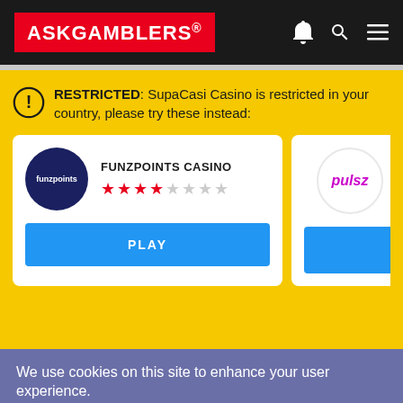ASKGAMBLERS
RESTRICTED: SupaCasi Casino is restricted in your country, please try these instead:
[Figure (logo): Funzpoints Casino logo - dark blue circle with 'funzpoints' text]
FUNZPOINTS CASINO - 3.5 out of 7 stars
PLAY
[Figure (logo): Pulsz logo - circle with pink/purple 'pulsz' text]
We use cookies on this site to enhance your user experience.
By clicking any link on this page you are giving your consent for us to set cookies.
More Info
OK, I agree